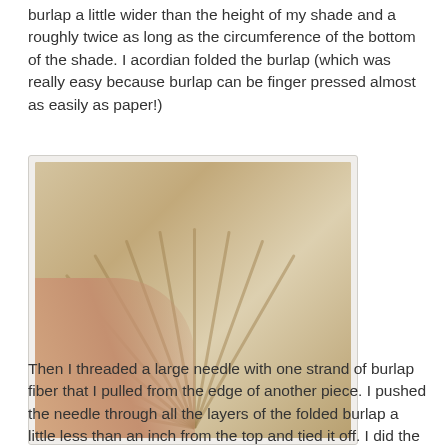burlap a little wider than the height of my shade and a roughly twice as long as the circumference of the bottom of the shade. I acordian folded the burlap (which was really easy because burlap can be finger pressed almost as easily as paper!)
[Figure (photo): A hand holding accordion-folded burlap fabric fanned out like a ruffle, photographed on a white surface.]
Then I threaded a large needle with one strand of burlap fiber that I pulled from the edge of another piece. I pushed the needle through all the layers of the folded burlap a little less than an inch from the top and tied it off. I did the same to the bottom. Then I placed the almost complete lampshade